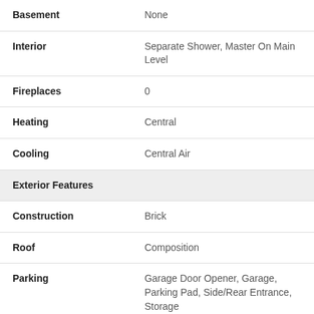| Feature | Value |
| --- | --- |
| Basement | None |
| Interior | Separate Shower, Master On Main Level |
| Fireplaces | 0 |
| Heating | Central |
| Cooling | Central Air |
| Exterior Features |  |
| Construction | Brick |
| Roof | Composition |
| Parking | Garage Door Opener, Garage, Parking Pad, Side/Rear Entrance, Storage |